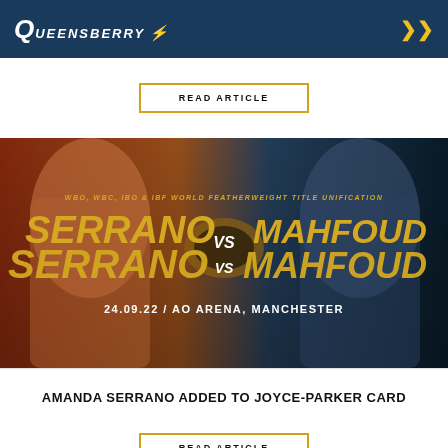Queensberry
[Figure (photo): Promotional fight poster for Amanda Serrano vs Mahfoud WBO, WBC, IBO & IBF World Featherweight Title Unification, 24.09.22 / AO Arena, Manchester]
AMANDA SERRANO ADDED TO JOYCE-PARKER CARD
READ ARTICLE